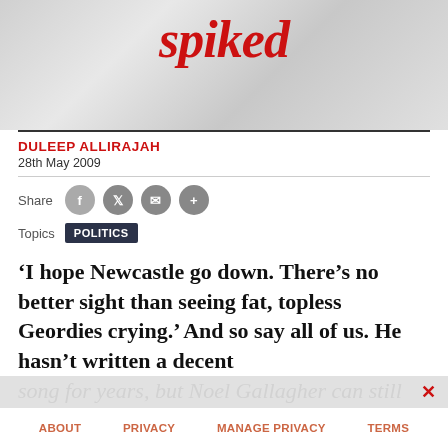[Figure (logo): spiked logo in red italic serif font on grey crumpled paper background]
DULEEP ALLIRAJAH
28th May 2009
Share [facebook] [twitter] [email] [+]
Topics  POLITICS
‘I hope Newcastle go down. There’s no better sight than seeing fat, topless Geordies crying.’ And so say all of us. He hasn’t written a decent song for years, but Noel Gallagher can still
ABOUT   PRIVACY   MANAGE PRIVACY   TERMS